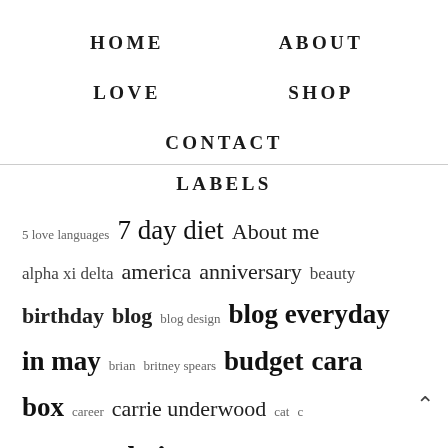HOME
ABOUT
LOVE
SHOP
CONTACT
LABELS
5 love languages  7 day diet  About me  alpha xi delta  america  anniversary  beauty  birthday  blog  blog design  blog everyday in may  brian  britney spears  budget  cara box  career  carrie underwood  cat  c lady  celebrities  christmas  coffee  cra  december  diet  disney  wedding  touchos